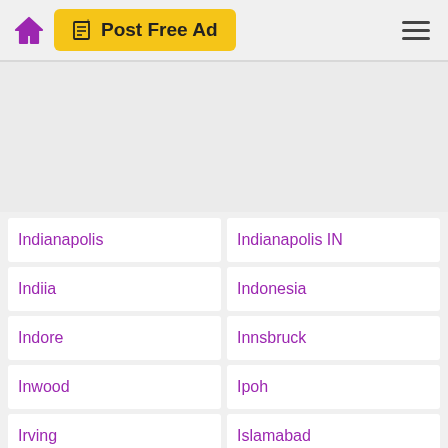Post Free Ad
[Figure (screenshot): Advertisement placeholder area (grey background)]
Indianapolis
Indianapolis IN
Indiia
Indonesia
Indore
Innsbruck
Inwood
Ipoh
Irving
Islamabad